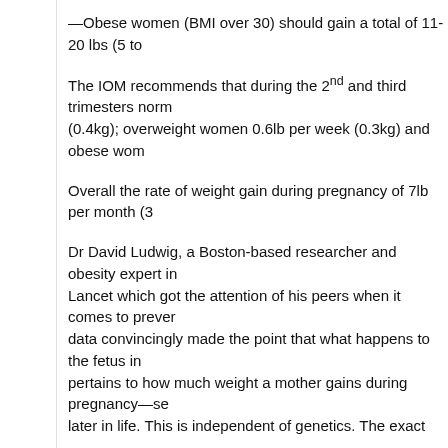—Obese women (BMI over 30) should gain a total of 11-20 lbs (5 to…
The IOM recommends that during the 2nd and third trimesters norm… (0.4kg); overweight women 0.6lb per week (0.3kg) and obese wom…
Overall the rate of weight gain during pregnancy of 7lb per month (3…
Dr David Ludwig, a Boston-based researcher and obesity expert in… Lancet which got the attention of his peers when it comes to prever… data convincingly made the point that what happens to the fetus in … pertains to how much weight a mother gains during pregnancy—se… later in life. This is independent of genetics. The exact mechanism … unclear.
In addition to Ludwig's work, research published in the European Jo… Dr Panagiota Kitsantas reported that being overweight or obese be… mother's future child was 1.4 times more likely to be overweight or … doctors who do preconception health screening have a big respons… learn more about how their weight gain during pregnancy has both…